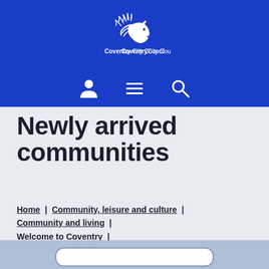[Figure (logo): Coventry City Council logo — white horse silhouette with flowing mane above text 'Coventry City Council' in white on blue background]
[Figure (infographic): Navigation icons: person/account icon, hamburger menu icon, and search/magnifying glass icon, all in white on blue background]
Newly arrived communities
Home | Community, leisure and culture | Community and living | Welcome to Coventry | Newly arrived communities